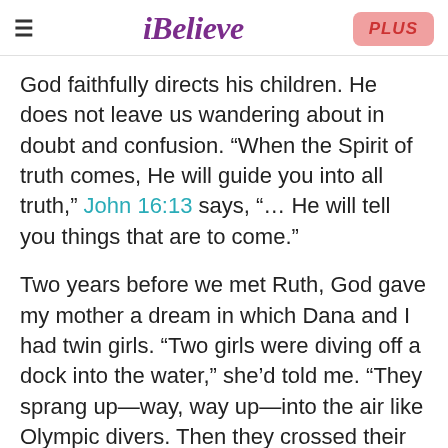iBelieve | PLUS
God faithfully directs his children. He does not leave us wandering about in doubt and confusion. “When the Spirit of truth comes, He will guide you into all truth,” John 16:13 says, “… He will tell you things that are to come.”
Two years before we met Ruth, God gave my mother a dream in which Dana and I had twin girls. “Two girls were diving off a dock into the water,” she’d told me. “They sprang up—way, way up—into the air like Olympic divers. Then they crossed their arms over their chests before spinning down and disappearing into